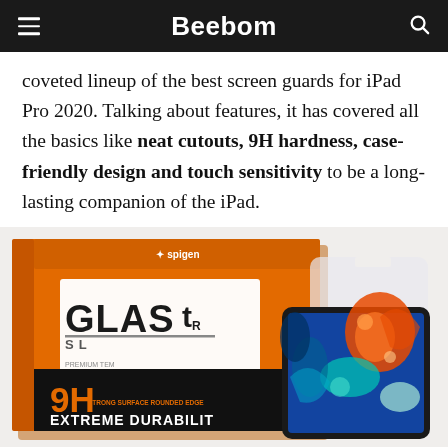Beebom
coveted lineup of the best screen guards for iPad Pro 2020. Talking about features, it has covered all the basics like neat cutouts, 9H hardness, case-friendly design and touch sensitivity to be a long-lasting companion of the iPad.
[Figure (photo): Product photo of Spigen GLAS.tR SLim screen protector for iPad Pro, showing the orange packaging box with '9H EXTREME DURABILITY' text and an iPad with a glass screen protector applied, displaying colorful artwork.]